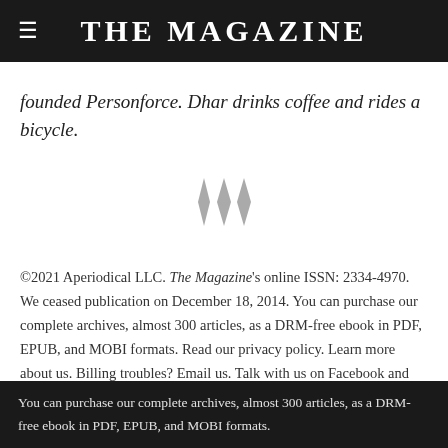THE MAGAZINE
founded Personforce. Dhar drinks coffee and rides a bicycle.
[Figure (illustration): Decorative typographic ornament consisting of three diamond/arrow shapes in gray, centered on the page]
©2021 Aperiodical LLC. The Magazine's online ISSN: 2334-4970. We ceased publication on December 18, 2014. You can purchase our complete archives, almost 300 articles, as a DRM-free ebook in PDF, EPUB, and MOBI formats. Read our privacy policy. Learn more about us. Billing troubles? Email us. Talk with us on Facebook and Twitter. Consult our FAQ for more answers. iPhone, iPad, and iPod touch are
You can purchase our complete archives, almost 300 articles, as a DRM-free ebook in PDF, EPUB, and MOBI formats.